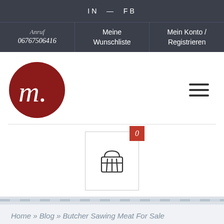IN — FB
Anruf
06767506416
Meine Wunschliste
Mein Konto / Registrieren
[Figure (logo): Dark red circle with a white cursive letter m and a small dot]
[Figure (other): Hamburger menu icon, three horizontal lines]
[Figure (other): Shopping basket icon with a red badge showing 0]
Home » Blog » Butcher Sawing Meat For Sale